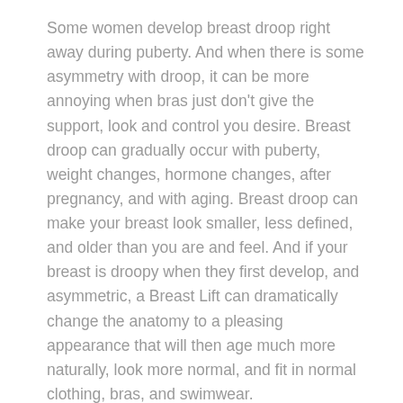Some women develop breast droop right away during puberty. And when there is some asymmetry with droop, it can be more annoying when bras just don't give the support, look and control you desire. Breast droop can gradually occur with puberty, weight changes, hormone changes, after pregnancy, and with aging. Breast droop can make your breast look smaller, less defined, and older than you are and feel. And if your breast is droopy when they first develop, and asymmetric, a Breast Lift can dramatically change the anatomy to a pleasing appearance that will then age much more naturally, look more normal, and fit in normal clothing, bras, and swimwear.